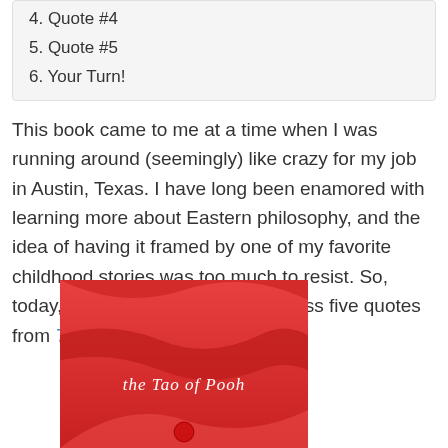4. Quote #4
5. Quote #5
6. Your Turn!
This book came to me at a time when I was running around (seemingly) like crazy for my job in Austin, Texas. I have long been enamored with learning more about Eastern philosophy, and the idea of having it framed by one of my favorite childhood stories was too much to resist. So, today, I'm going to share and discuss five quotes from The Tao of Pooh.
[Figure (photo): Red book cover of 'the Tao of Pooh' with curved red and darker red wave shapes and white italic text reading 'the Tao of Pooh']